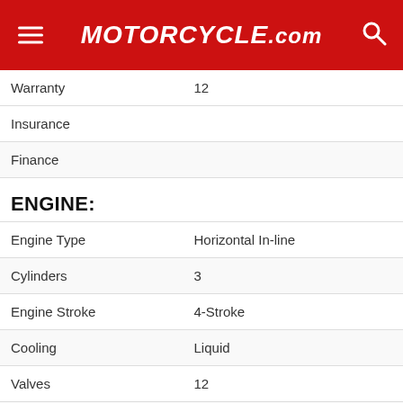MOTORCYCLE.COM
| Spec | Value |
| --- | --- |
| Warranty | 12 |
| Insurance |  |
| Finance |  |
ENGINE:
| Spec | Value |
| --- | --- |
| Engine Type | Horizontal In-line |
| Cylinders | 3 |
| Engine Stroke | 4-Stroke |
| Cooling | Liquid |
| Valves | 12 |
| Valves Per Cylinder | 4 |
| Valve Configuration | DOHC |
[Figure (other): Advertisement banner with repeating circular pattern]